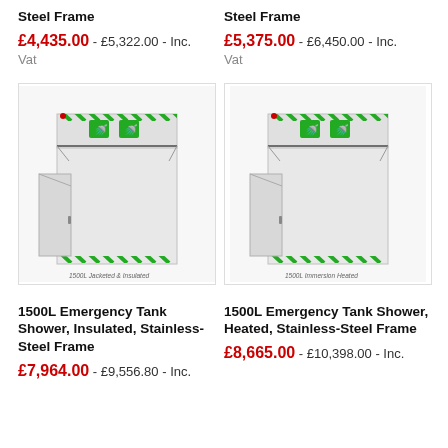Steel Frame
Steel Frame
£4,435.00 - £5,322.00 - Inc. Vat
£5,375.00 - £6,450.00 - Inc. Vat
[Figure (photo): 1500L Emergency Tank Shower, Insulated, Stainless-Steel Frame product photo with green hazard chevron markings. Caption: 1500L Jacketed & Insulated]
[Figure (photo): 1500L Emergency Tank Shower, Heated, Stainless-Steel Frame product photo with green hazard chevron markings. Caption: 1500L Immersion Heated]
1500L Emergency Tank Shower, Insulated, Stainless-Steel Frame
1500L Emergency Tank Shower, Heated, Stainless-Steel Frame
£7,964.00 - £9,556.80 - Inc.
£8,665.00 - £10,398.00 - Inc.